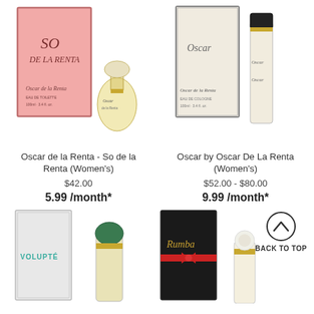[Figure (photo): Oscar de la Renta So de la Renta perfume box and bottle]
[Figure (photo): Oscar by Oscar De La Renta perfume box and bottle]
Oscar de la Renta - So de la Renta (Women's)
$42.00
5.99 /month*
Oscar by Oscar De La Renta (Women's)
$52.00 - $80.00
9.99 /month*
[Figure (photo): Volupte perfume box and bottle with green cap]
[Figure (photo): Rumba perfume box and bottle with pearl cap]
BACK TO TOP